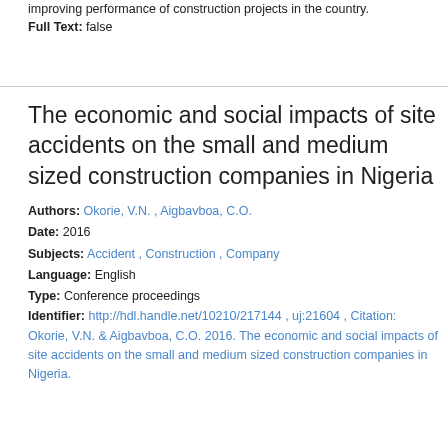improving performance of construction projects in the country.
Full Text: false
The economic and social impacts of site accidents on the small and medium sized construction companies in Nigeria
Authors: Okorie, V.N. , Aigbavboa, C.O.
Date: 2016
Subjects: Accident , Construction , Company
Language: English
Type: Conference proceedings
Identifier: http://hdl.handle.net/10210/217144 , uj:21604 , Citation: Okorie, V.N. & Aigbavboa, C.O. 2016. The economic and social impacts of site accidents on the small and medium sized construction companies in Nigeria.